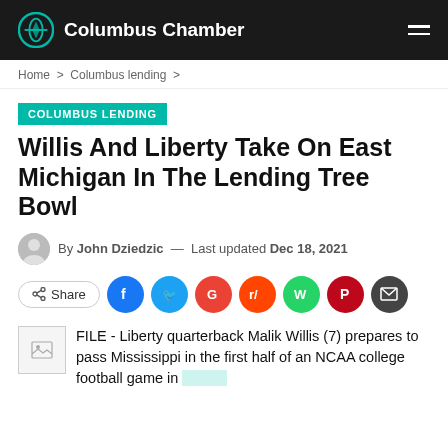Columbus Chamber
Home > Columbus lending >
COLUMBUS LENDING
Willis And Liberty Take On East Michigan In The Lending Tree Bowl
By John Dziedzic — Last updated Dec 18, 2021
Share (social buttons: Facebook, Twitter, Google, Reddit, WhatsApp, Pinterest, Email)
FILE - Liberty quarterback Malik Willis (7) prepares to pass Mississippi in the first half of an NCAA college football game in